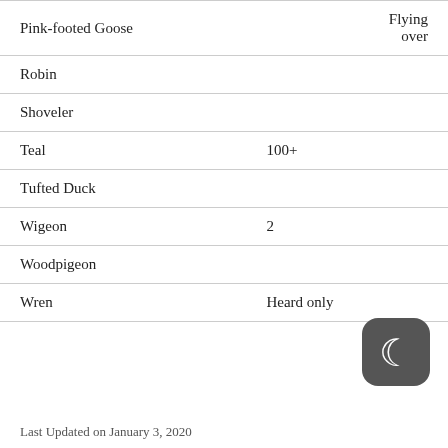| Species | Count | Notes |
| --- | --- | --- |
| Pink-footed Goose |  | Flying over |
| Robin |  |  |
| Shoveler |  |  |
| Teal | 100+ |  |
| Tufted Duck |  |  |
| Wigeon | 2 |  |
| Woodpigeon |  |  |
| Wren | Heard only |  |
[Figure (illustration): Dark rounded square button with a crescent moon icon]
Last Updated on January 3, 2020